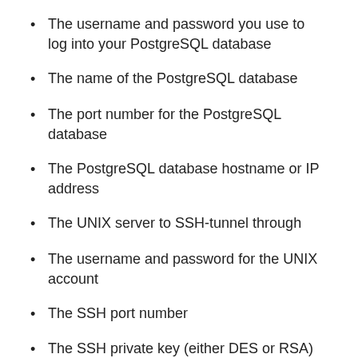The username and password you use to log into your PostgreSQL database
The name of the PostgreSQL database
The port number for the PostgreSQL database
The PostgreSQL database hostname or IP address
The UNIX server to SSH-tunnel through
The username and password for the UNIX account
The SSH port number
The SSH private key (either DES or RSA)
Before you can connect to a PostgreSQL database, you must also whitelist a number of IP addresses on your database server on the port you want to connect to. For